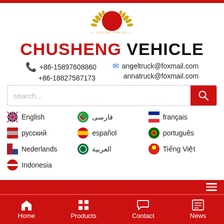[Figure (logo): Chusheng/CNCSC truck company circular logo with red crescent, golden laurel wreath, and letter S, with CNCSC TRUCK text below]
CHUSHENG VEHICLE
+86-15897608860   angeltruck@foxmail.com
+86-18827587173   annatruck@foxmail.com
search...
English
فارسی
français
русский
español
português
Nederlands
العربية
Tiếng Việt
Indonesia
Home   Products   Contact   News